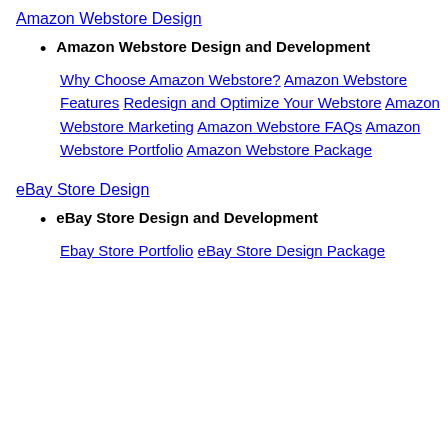Amazon Webstore Design
Amazon Webstore Design and Development
Why Choose Amazon Webstore? Amazon Webstore Features Redesign and Optimize Your Webstore Amazon Webstore Marketing Amazon Webstore FAQs Amazon Webstore Portfolio Amazon Webstore Package
eBay Store Design
eBay Store Design and Development
Ebay Store Portfolio eBay Store Design Package